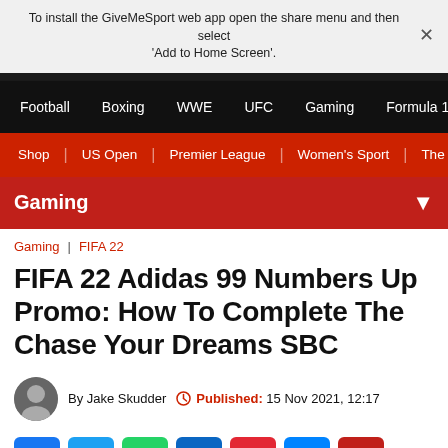To install the GiveMeSport web app open the share menu and then select 'Add to Home Screen'.
Football | Boxing | WWE | UFC | Gaming | Formula 1
Shop | US Open | Premier League | Women's Sport | The Fo
Gaming
Gaming | FIFA 22
FIFA 22 Adidas 99 Numbers Up Promo: How To Complete The Chase Your Dreams SBC
By Jake Skudder   Published: 15 Nov 2021, 12:17